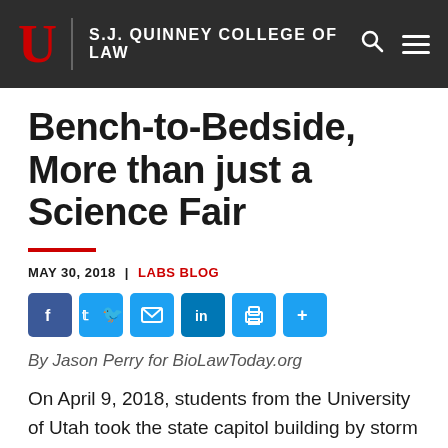S.J. QUINNEY COLLEGE OF LAW
Bench-to-Bedside, More than just a Science Fair
MAY 30, 2018 | LABS BLOG
[Figure (infographic): Social sharing buttons: Facebook, Twitter, Email, LinkedIn, Print, Share+]
By Jason Perry for BioLawToday.org
On April 9, 2018, students from the University of Utah took the state capitol building by storm for the 8th annual Bench to Bedside competition. This